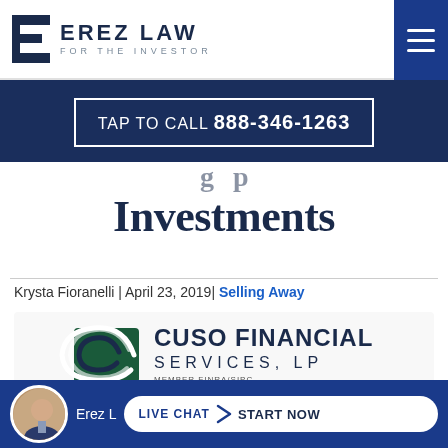EREZ LAW FOR THE INVESTOR
TAP TO CALL 888-346-1263
Investments
Krysta Fioranelli | April 23, 2019| Selling Away
[Figure (logo): CUSO Financial Services, LP logo with Member FINRA/SIPC text]
Erez Law | LIVE CHAT START NOW